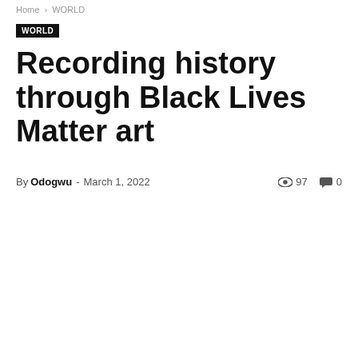Home › WORLD
WORLD
Recording history through Black Lives Matter art
By Odogwu - March 1, 2022   97   0